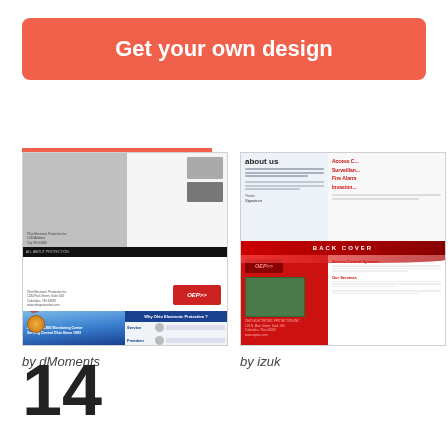Get your own design
[Figure (screenshot): Thumbnail of a brochure design for Ohio Electronic Protection by dMoments, showing multi-panel layout with gray, white, blue panels and OEP logo]
by dMoments
[Figure (screenshot): Thumbnail of a brochure design for Ohio Electronic Protection by izuk, showing red and black cover with Access Control, Surveillance, Fire Alarm, Intrusion text, and BACK COVER panel]
by izuk
14